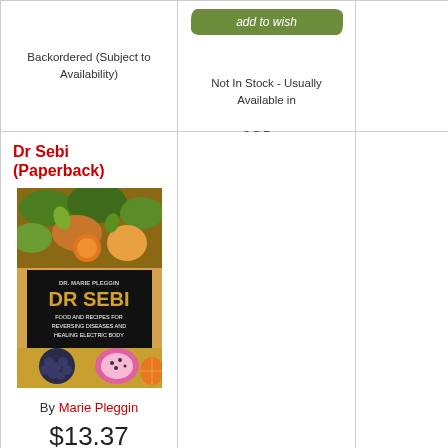[Figure (other): Add to wish button (green brushstroke button)]
Backordered (Subject to Availability)
Not In Stock - Usually Available in 3-5 Days
Dr Sebi (Paperback)
[Figure (photo): Book cover image of Dr Sebi by Dr. Marie Pleggin - food and recipes for reversing diseases and healing electric body]
By Marie Pleggin
$13.37
[Figure (other): Add to cart button (green brushstroke button)]